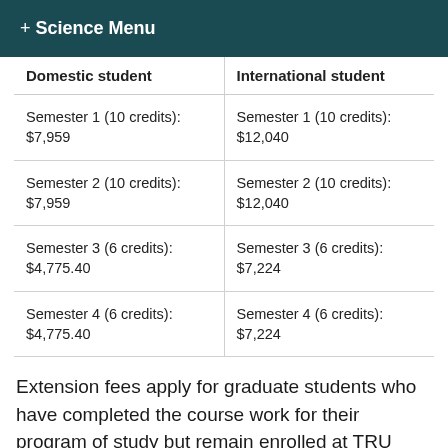+ Science Menu
| Domestic student | International student |
| --- | --- |
| Semester 1 (10 credits): $7,959 | Semester 1 (10 credits): $12,040 |
| Semester 2 (10 credits): $7,959 | Semester 2 (10 credits): $12,040 |
| Semester 3 (6 credits): $4,775.40 | Semester 3 (6 credits): $7,224 |
| Semester 4 (6 credits): $4,775.40 | Semester 4 (6 credits): $7,224 |
Extension fees apply for graduate students who have completed the course work for their program of study but remain enrolled at TRU while completing any additional program requirements